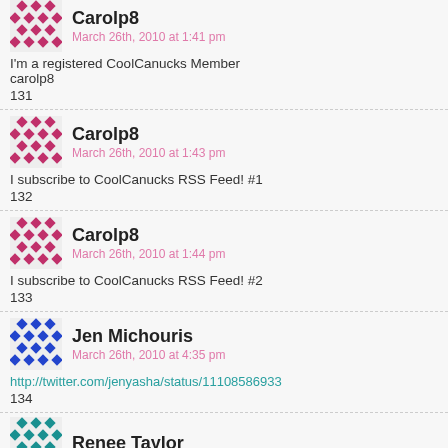carolp8
March 26th, 2010 at 1:41 pm
I'm a registered CoolCanucks Member
carolp8
131
Carolp8
March 26th, 2010 at 1:43 pm
I subscribe to CoolCanucks RSS Feed! #1
132
Carolp8
March 26th, 2010 at 1:44 pm
I subscribe to CoolCanucks RSS Feed! #2
133
Jen Michouris
March 26th, 2010 at 4:35 pm
http://twitter.com/jenyasha/status/11108586933
134
Renee Taylor